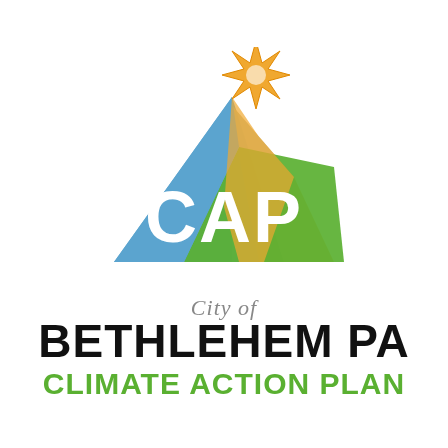[Figure (logo): City of Bethlehem PA Climate Action Plan (CAP) logo. Features a blue mountain triangle, orange/yellow diagonal band, green parallelogram shape, orange 8-pointed star at the top, and white 'CAP' text overlaid on the shapes. Below: italic gray 'City of', bold black 'BETHLEHEM PA', bold green 'CLIMATE ACTION PLAN'.]